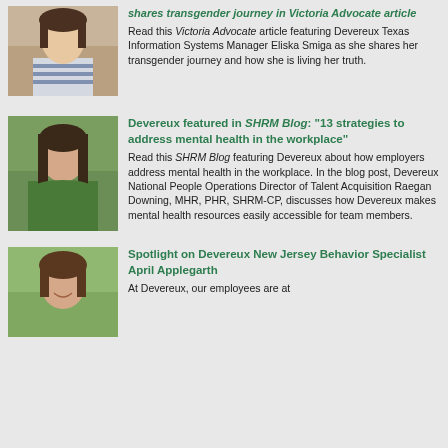[Figure (photo): Photo of Eliska Smiga, a woman with dark hair wearing a striped top]
shares transgender journey in Victoria Advocate article
Read this Victoria Advocate article featuring Devereux Texas Information Systems Manager Eliska Smiga as she shares her transgender journey and how she is living her truth.
[Figure (photo): Photo of Raegan Downing, a woman with long dark hair lying on grass looking upward]
Devereux featured in SHRM Blog: “13 strategies to address mental health in the workplace”
Read this SHRM Blog featuring Devereux about how employers address mental health in the workplace. In the blog post, Devereux National People Operations Director of Talent Acquisition Raegan Downing, MHR, PHR, SHRM-CP, discusses how Devereux makes mental health resources easily accessible for team members.
[Figure (photo): Photo of April Applegarth, a woman smiling outdoors]
Spotlight on Devereux New Jersey Behavior Specialist April Applegarth
At Devereux, our employees are at